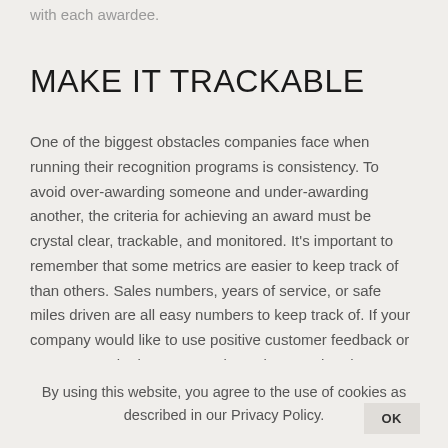with each awardee.
MAKE IT TRACKABLE
One of the biggest obstacles companies face when running their recognition programs is consistency. To avoid over-awarding someone and under-awarding another, the criteria for achieving an award must be crystal clear, trackable, and monitored. It's important to remember that some metrics are easier to keep track of than others. Sales numbers, years of service, or safe miles driven are all easy numbers to keep track of. If your company would like to use positive customer feedback or peer-to-peer kudos as a metric, make sure that these avenues are easy and
By using this website, you agree to the use of cookies as described in our Privacy Policy.
OK